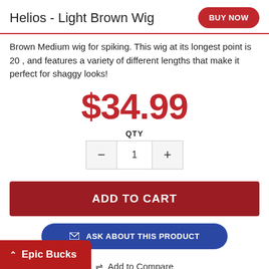Helios - Light Brown Wig
Brown Medium wig for spiking. This wig at its longest point is 20 , and features a variety of different lengths that make it perfect for shaggy looks!
$34.99
QTY
ADD TO CART
ASK ABOUT THIS PRODUCT
Add to Compare
Epic Bucks